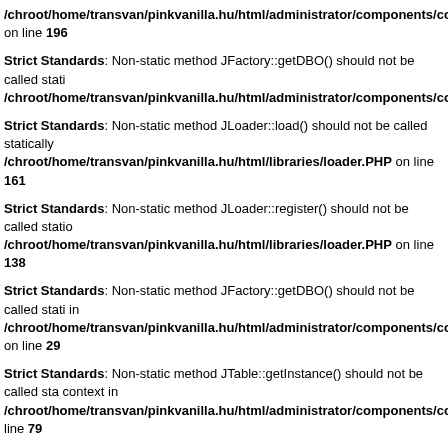/chroot/home/transvan/pinkvanilla.hu/html/administrator/components/com_k on line 196
Strict Standards: Non-static method JFactory::getDBO() should not be called stati /chroot/home/transvan/pinkvanilla.hu/html/administrator/components/com_k
Strict Standards: Non-static method JLoader::load() should not be called statically /chroot/home/transvan/pinkvanilla.hu/html/libraries/loader.PHP on line 161
Strict Standards: Non-static method JLoader::register() should not be called statio /chroot/home/transvan/pinkvanilla.hu/html/libraries/loader.PHP on line 138
Strict Standards: Non-static method JFactory::getDBO() should not be called stati in /chroot/home/transvan/pinkvanilla.hu/html/administrator/components/com on line 29
Strict Standards: Non-static method JTable::getInstance() should not be called sta context in /chroot/home/transvan/pinkvanilla.hu/html/administrator/components/com_k line 79
Strict Standards: Non-static method JLoader::load() should not be called statically /chroot/home/transvan/pinkvanilla.hu/html/libraries/loader.PHP on line 161
Strict Standards: Non-static method JLoader::register() should not be called statio /chroot/home/transvan/pinkvanilla.hu/html/libraries/loader.PHP on line 138
Strict Standards: Non-static method JLoader::import() should not be called statica